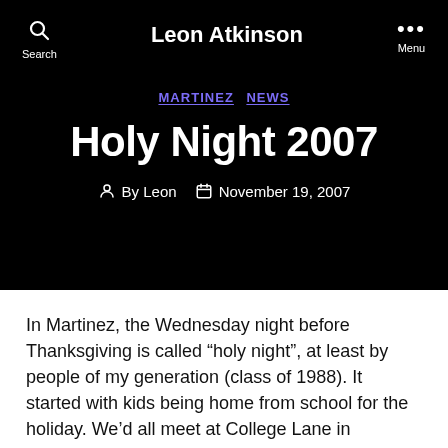Leon Atkinson
MARTINEZ  NEWS
Holy Night 2007
By Leon  November 19, 2007
In Martinez, the Wednesday night before Thanksgiving is called “holy night”, at least by people of my generation (class of 1988). It started with kids being home from school for the holiday. We’d all meet at College Lane in downtown Martinez. Several years ago